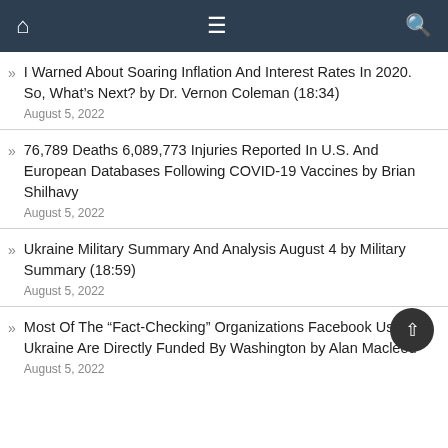Navigation bar with home, menu, and search icons
I Warned About Soaring Inflation And Interest Rates In 2020. So, What's Next? by Dr. Vernon Coleman (18:34) — August 5, 2022
76,789 Deaths 6,089,773 Injuries Reported In U.S. And European Databases Following COVID-19 Vaccines by Brian Shilhavy — August 5, 2022
Ukraine Military Summary And Analysis August 4 by Military Summary (18:59) — August 5, 2022
Most Of The “Fact-Checking” Organizations Facebook Uses In Ukraine Are Directly Funded By Washington by Alan Macleod — August 5, 2022